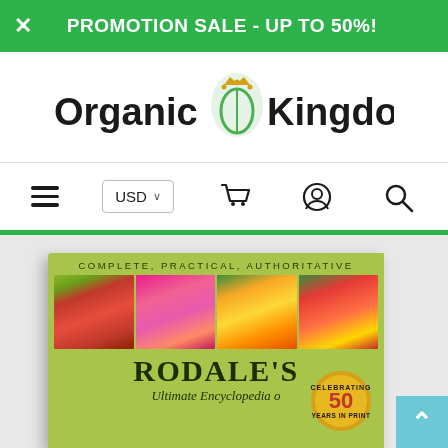PROMOTION SALE - UP TO 50%!
[Figure (logo): Organic Kingdom logo with green leaf/seed icon and crown, bold black text]
USD  Cart  Account  Search navigation bar
[Figure (photo): Rodale's Ultimate Encyclopedia book cover with photos of tomatoes, flowers, peppers, and berries. Text: COMPLETE, PRACTICAL, AUTHORITATIVE. RODALE'S Ultimate Encyclopedia. Celebrating 50 years in print gold badge.]